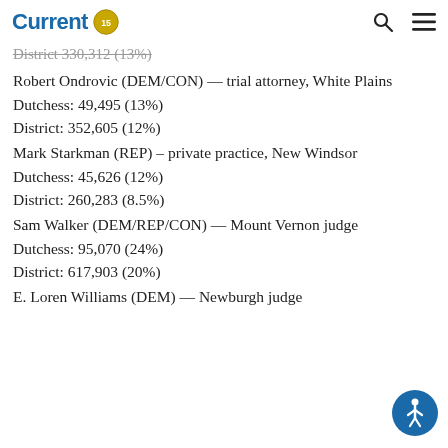Current [logo]
District 330,312 (13%)
Robert Ondrovic (DEM/CON) — trial attorney, White Plains
Dutchess: 49,495 (13%)
District: 352,605 (12%)
Mark Starkman (REP) – private practice, New Windsor
Dutchess: 45,626 (12%)
District: 260,283 (8.5%)
Sam Walker (DEM/REP/CON) — Mount Vernon judge
Dutchess: 95,070 (24%)
District: 617,903 (20%)
E. Loren Williams (DEM) — Newburgh judge